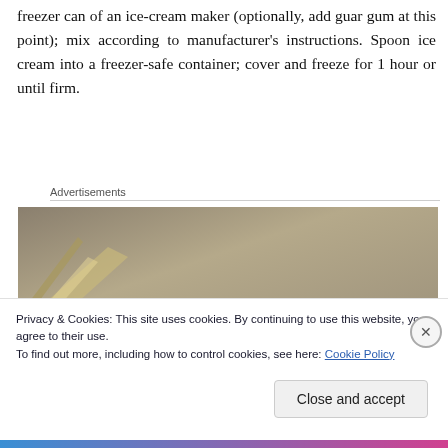freezer can of an ice-cream maker (optionally, add guar gum at this point); mix according to manufacturer's instructions. Spoon ice cream into a freezer-safe container; cover and freeze for 1 hour or until firm.
Advertisements
[Figure (photo): Partial view of a metallic/beige surface, likely an ice cream maker or kitchen appliance, cropped advertisement image.]
Privacy & Cookies: This site uses cookies. By continuing to use this website, you agree to their use.
To find out more, including how to control cookies, see here: Cookie Policy